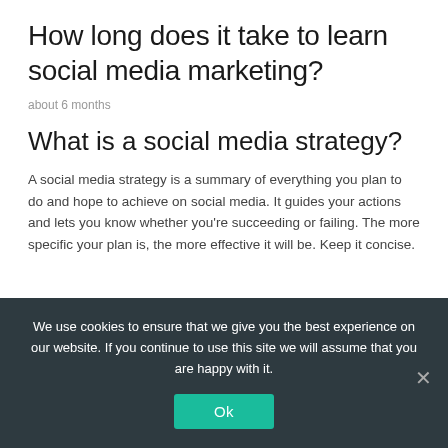How long does it take to learn social media marketing?
about 6 months
What is a social media strategy?
A social media strategy is a summary of everything you plan to do and hope to achieve on social media. It guides your actions and lets you know whether you’re succeeding or failing. The more specific your plan is, the more effective it will be. Keep it concise.
We use cookies to ensure that we give you the best experience on our website. If you continue to use this site we will assume that you are happy with it.
Ok